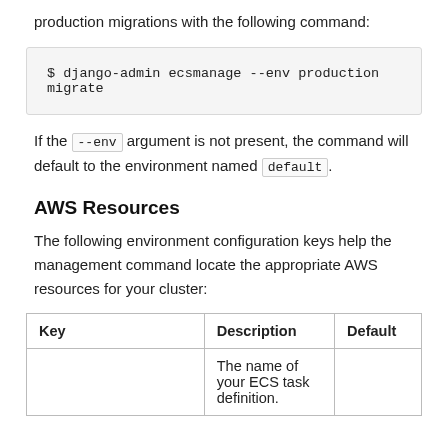production migrations with the following command:
If the --env argument is not present, the command will default to the environment named default.
AWS Resources
The following environment configuration keys help the management command locate the appropriate AWS resources for your cluster:
| Key | Description | Default |
| --- | --- | --- |
|  | The name of your ECS task definition. |  |